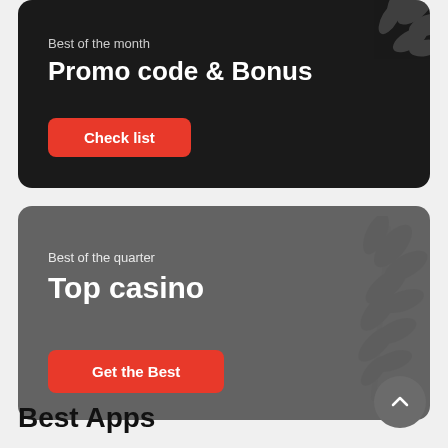[Figure (infographic): Dark card banner with text 'Best of the month' subtitle and 'Promo code & Bonus' title, red 'Check list' button, decorative leaf illustration in top-right corner]
[Figure (infographic): Medium gray card banner with text 'Best of the quarter' subtitle and 'Top casino' title, red 'Get the Best' button, decorative laurel leaf illustration on the right side]
Best Apps